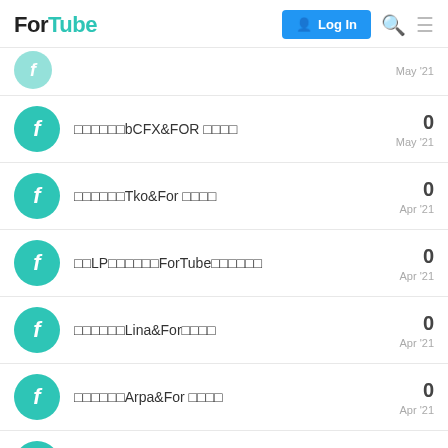ForTube — Log In
□□□□□□bCFX&FOR □□□□ — 0 — May '21
□□□□□□Tko&For □□□□ — 0 — Apr '21
□□LP□□□□□□ForTube□□□□□□ — 0 — Apr '21
□□□□□□Lina&For□□□□ — 0 — Apr '21
□□□□□□Arpa&For □□□□ — 0 — Apr '21
【For Pool】Simple Guide to ARPA & FOR Combo Mining — 0